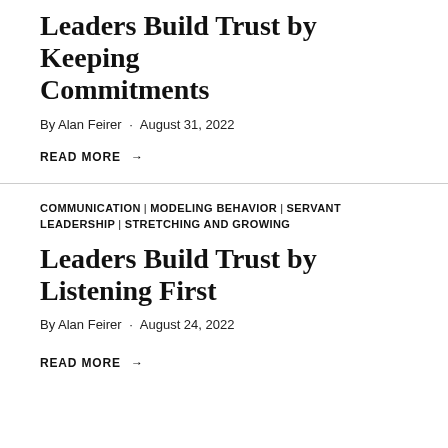Leaders Build Trust by Keeping Commitments
By Alan Feirer · August 31, 2022
READ MORE →
COMMUNICATION | MODELING BEHAVIOR | SERVANT LEADERSHIP | STRETCHING AND GROWING
Leaders Build Trust by Listening First
By Alan Feirer · August 24, 2022
READ MORE →